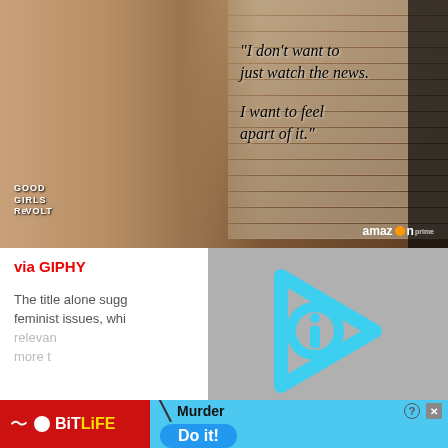[Figure (screenshot): TV show screenshot from 'Good Girls Revolt' on Amazon Prime. A blonde woman with hoop earrings is shown, with a quote overlay reading: "I don't want to just watch the news. I want to feel apart of it." The Amazon Prime logo is visible in the bottom right.]
via GIPHY
[Figure (logo): GIPHY media player area showing a cyan/teal play button logo on a gray background with black border]
The title alone sugg  feminist issues, whi  relevan  more t
[Figure (screenshot): Ad banner for BitLife mobile app with red background on left showing BitLife logo, and blue area on right showing 'Murder' with a 'Do it!' button]